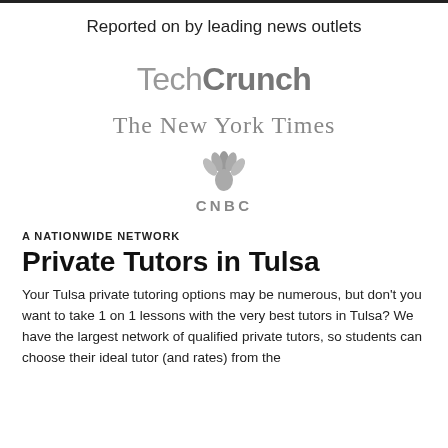Reported on by leading news outlets
[Figure (logo): TechCrunch logo in gray]
[Figure (logo): The New York Times logo in gray blackletter font]
[Figure (logo): CNBC logo with peacock icon in gray]
A NATIONWIDE NETWORK
Private Tutors in Tulsa
Your Tulsa private tutoring options may be numerous, but don't you want to take 1 on 1 lessons with the very best tutors in Tulsa? We have the largest network of qualified private tutors, so students can choose their ideal tutor (and rates) from the